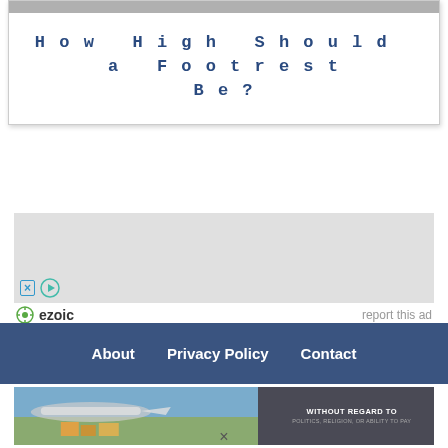How High Should a Footrest Be?
[Figure (other): Advertisement placeholder box with close (X) and play button controls, ezoic branding and 'report this ad' link]
About   Privacy Policy   Contact
[Figure (photo): Airplane cargo loading scene with text overlay 'WITHOUT REGARD TO POLITICS, RELIGION, OR ABILITY TO PAY']
×